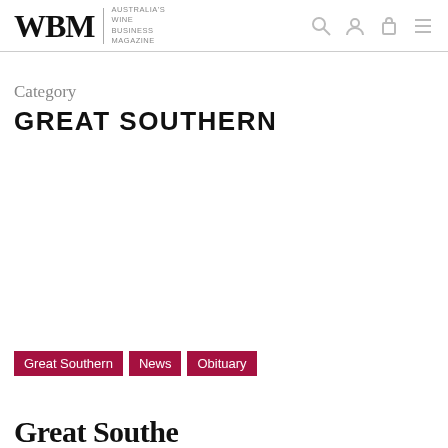WBM | AUSTRALIA'S WINE BUSINESS MAGAZINE
Category
GREAT SOUTHERN
Great Southern
News
Obituary
Great Southern